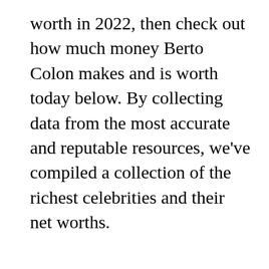worth in 2022, then check out how much money Berto Colon makes and is worth today below. By collecting data from the most accurate and reputable resources, we've compiled a collection of the richest celebrities and their net worths.